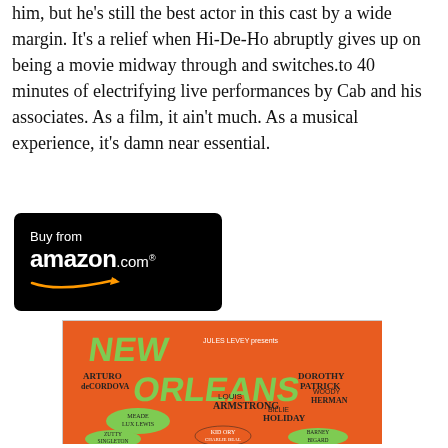him, but he's still the best actor in this cast by a wide margin. It's a relief when Hi-De-Ho abruptly gives up on being a movie midway through and switches to 40 minutes of electrifying live performances by Cab and his associates. As a film, it ain't much. As a musical experience, it's damn near essential.
[Figure (logo): Buy from amazon.com button - black rounded rectangle with white text and Amazon arrow logo]
[Figure (photo): Vintage movie poster for 'New Orleans' presented by Jules Levey, featuring Arturo de Cordova, Dorothy Patrick, Louis Armstrong and His Band, Woody Herman, Billie Holiday, Meade Lux Lewis, Kid Ory, Charlie Beal, Zutty Singleton, Barney Bigard, on an orange background with green illustrated text.]